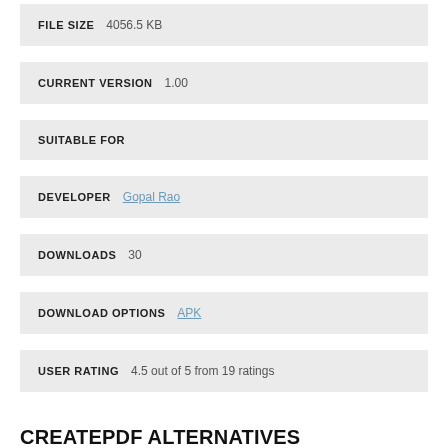FILE SIZE   4056.5 KB
CURRENT VERSION   1.00
SUITABLE FOR
DEVELOPER   Gopal Rao
DOWNLOADS   30
DOWNLOAD OPTIONS   APK
USER RATING   4.5 out of 5 from 19 ratings
CREATEPDF ALTERNATIVES
In my humble opinion, it is good to have another image to